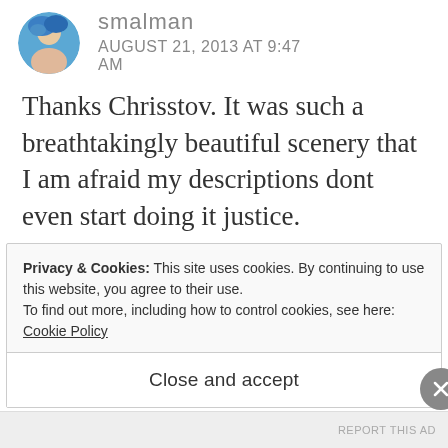smalman
AUGUST 21, 2013 AT 9:47 AM
[Figure (photo): Circular avatar photo of a person with blue background]
Thanks Chrisstov. It was such a breathtakingly beautiful scenery that I am afraid my descriptions dont even start doing it justice.
★ Like
Privacy & Cookies: This site uses cookies. By continuing to use this website, you agree to their use.
To find out more, including how to control cookies, see here: Cookie Policy
Close and accept